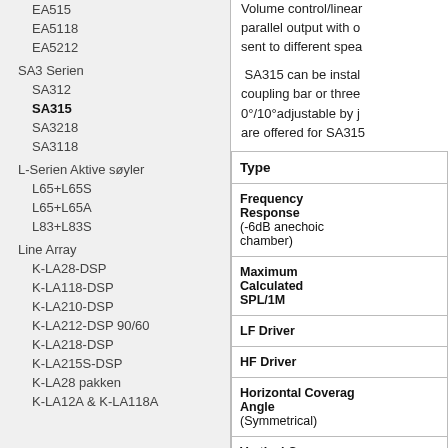EA515
EA5118
EA5212
SA3 Serien
SA312
SA315
SA3218
SA3118
L-Serien Aktive søyler
L65+L65S
L65+L65A
L83+L83S
Line Array
K-LA28-DSP
K-LA118-DSP
K-LA210-DSP
K-LA212-DSP 90/60
K-LA218-DSP
K-LA215S-DSP
K-LA28 pakken
K-LA12A & K-LA118A
Volume control/linear parallel output with o... sent to different spea...
SA315 can be instal... coupling bar or three... 0°/10°adjustable by j... are offered for SA315...
| Type |  |
| --- | --- |
| Frequency Response (-6dB anechoic chamber) |  |
| Maximum Calculated SPL/1M |  |
| LF Driver |  |
| HF Driver |  |
| Horizontal Coverage Angle(Symmetrical) |  |
| Vertical Coverage |  |